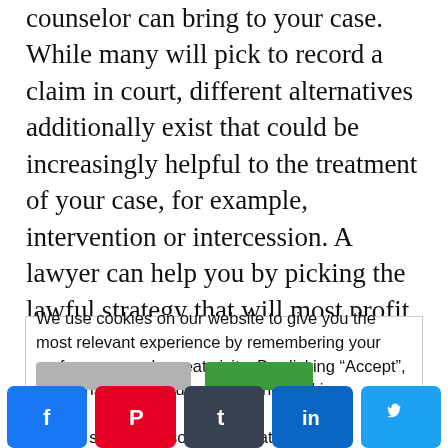counselor can bring to your case. While many will pick to record a claim in court, different alternatives additionally exist that could be increasingly helpful to the treatment of your case, for example, intervention or intercession. A lawyer can help you by picking the lawful strategy that will most profit you.
[Figure (other): Advertisement placeholder box with light gray border]
We use cookies on our website to give you the most relevant experience by remembering your preferences and repeat visits. By clicking “Accept”, you consent to the use of ALL the cookies.
Do not sell my personal information.
[Figure (other): Social share buttons row: Facebook (blue), Pinterest (red), Tumblr (dark gray), LinkedIn (blue), Twitter (light blue)]